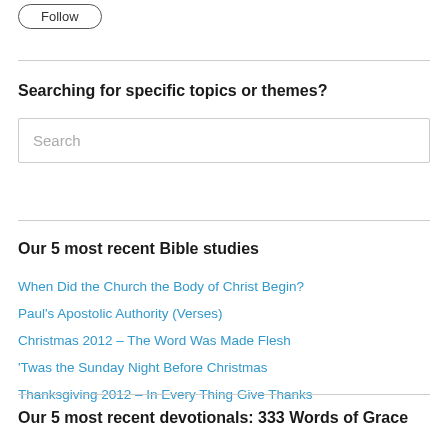[Figure (other): Follow button with rounded border]
Searching for specific topics or themes?
[Figure (other): Search input box with placeholder text 'Search']
Our 5 most recent Bible studies
When Did the Church the Body of Christ Begin?
Paul's Apostolic Authority (Verses)
Christmas 2012 – The Word Was Made Flesh
'Twas the Sunday Night Before Christmas
Thanksgiving 2012 – In Every Thing Give Thanks
Our 5 most recent devotionals: 333 Words of Grace